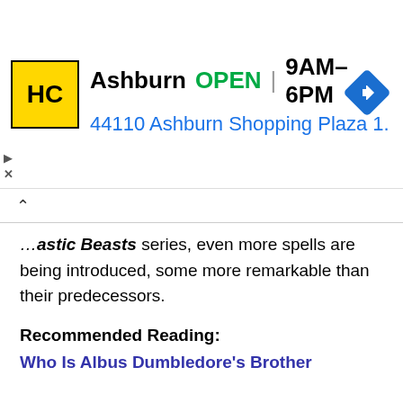[Figure (screenshot): Advertisement banner for Hairclub (HC) Ashburn location showing yellow HC logo, store name, OPEN status, hours 9AM-6PM, address 44110 Ashburn Shopping Plaza 1., and a blue navigation diamond icon]
...astic Beasts series, even more spells are being introduced, some more remarkable than their predecessors.
Recommended Reading:
Who Is Albus Dumbledore's Brother